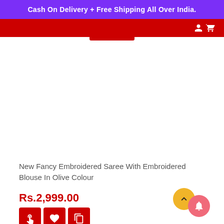Cash On Delivery + Free Shipping All Over India.
New Fancy Embroidered Saree With Embroidered Blouse In Olive Colour
Rs.2,999.00
[Figure (screenshot): Action icons: cart/hand, heart, copy, and eye buttons in red squares; scroll-to-top yellow circle button and pink notification bell circle button]